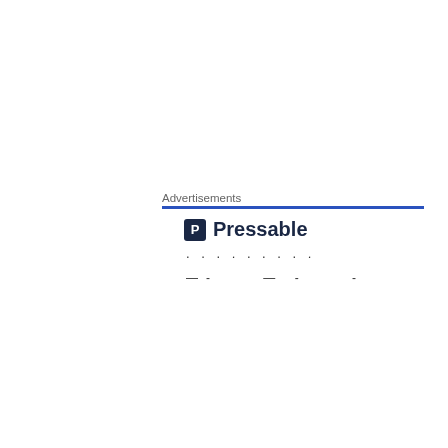Advertisements
[Figure (logo): Pressable logo with dark blue square icon containing letter P and the word Pressable in bold dark blue text]
. . . . . . . . .
—-          — -          -
The Company is cutting their Dollar meals, shuffling their vast menu, and has had a somewhat dismal showing for the past two years, many say.
They have had issues with China and meat and a variety of
Privacy & Cookies: This site uses cookies. By continuing to use this website, you agree to their use.
To find out more, including how to control cookies, see here: Cookie Policy
Close and accept